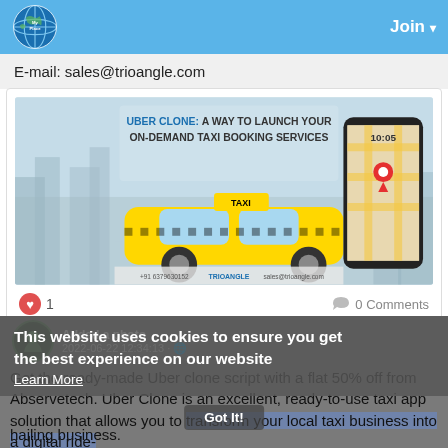Join
E-mail: sales@trioangle.com
[Figure (illustration): Promotional banner for Uber Clone taxi booking service showing a yellow taxi car and a smartphone with map/navigation app. Text reads: UBER CLONE: A WAY TO LAUNCH YOUR ON-DEMAND TAXI BOOKING SERVICES. Contact info: +91 6379630152, TRIOANGLE, sales@trioangle.com]
1   0 Comments
This website uses cookies to ensure you get the best experience on our website
Learn More
Get the ready-made Uber clone script with a flat 50% off from Abservetech. Uber Clone is an excellent, ready-to-use taxi app solution that allows you to transform your local taxi business into a digital ride-hailing business.
Got It!